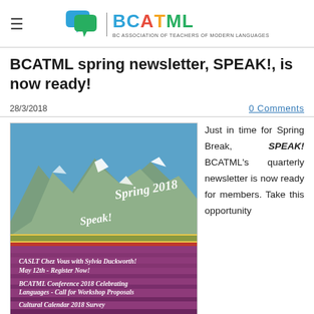BCATML — BC Association of Teachers of Modern Languages
BCATML spring newsletter, SPEAK!, is now ready!
28/3/2018
0 Comments
[Figure (photo): Cover of SPEAK! Spring 2018 newsletter showing tulip fields with snow-capped mountains, with text: Speak! Spring 2018, CASLT Chez Vous with Sylvia Duckworth! May 12th - Register Now!, BCATML Conference 2018 Celebrating Languages - Call for Workshop Proposals, Cultural Calendar 2018 Survey, Core French Introductory II New Ministry...]
Just in time for Spring Break, SPEAK! BCATML's quarterly newsletter is now ready for members. Take this opportunity